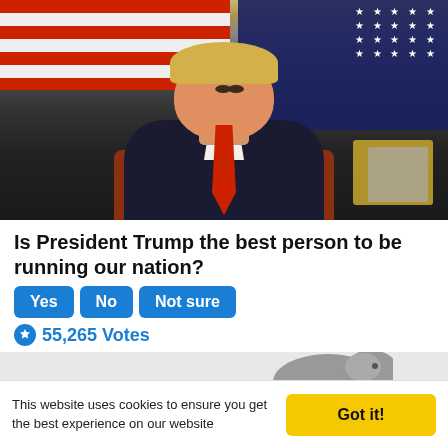[Figure (photo): Photograph of a man in a dark suit with red tie, seated at a desk in front of American flags]
Is President Trump the best person to be running our nation?
Yes
No
Not sure
55,265 Votes
[Figure (illustration): Partial illustration of an elephant (gray)]
This website uses cookies to ensure you get the best experience on our website
Got it!